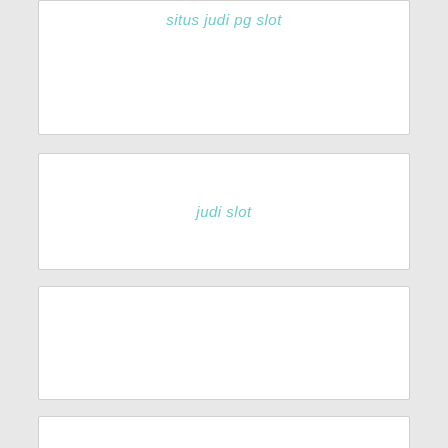situs judi pg slot
judi slot
situs slot gacor